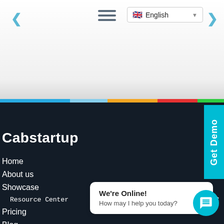[Figure (screenshot): Website header navigation with hamburger menu, English language selector with UK flag, and left/right chevron arrows on white background with gradient]
[Figure (infographic): Horizontal color bar strip with blue, light blue, orange, red, and green segments]
Cabstartup
Home
About us
Showcase
Resource Center
Pricing
Blog
Get Demo
We're Online!
How may I help you today?